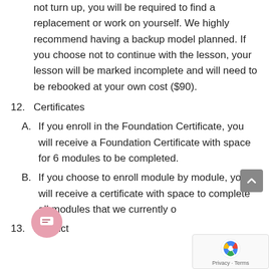(continued) not turn up, you will be required to find a replacement or work on yourself. We highly recommend having a backup model planned. If you choose not to continue with the lesson, your lesson will be marked incomplete and will need to be rebooked at your own cost ($90).
12. Certificates
A. If you enroll in the Foundation Certificate, you will receive a Foundation Certificate with space for 6 modules to be completed.
B. If you choose to enroll module by module, you will receive a certificate with space to complete all modules that we currently o[obscured]
13. Product